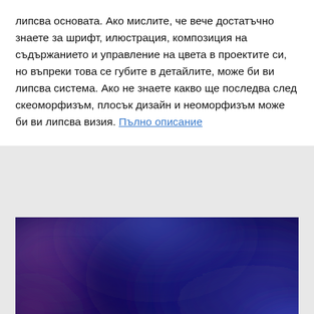липсва основата. Ако мислите, че вече достатъчно знаете за шрифт, илюстрация, композиция на съдържанието и управление на цвета в проектите си, но въпреки това се губите в детайлите, може би ви липсва система. Ако не знаете какво ще последва след скеоморфизъм, плосък дизайн и неоморфизъм може би ви липсва визия. Пълно описание
[Figure (photo): Abstract blurred image with blue, purple, and dark violet tones, gradient background]